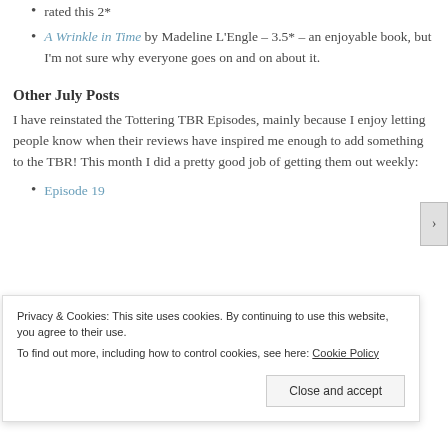rated this 2*
A Wrinkle in Time by Madeline L'Engle – 3.5* – an enjoyable book, but I'm not sure why everyone goes on and on about it.
Other July Posts
I have reinstated the Tottering TBR Episodes, mainly because I enjoy letting people know when their reviews have inspired me enough to add something to the TBR!  This month I did a pretty good job of getting them out weekly:
Episode 19
Privacy & Cookies: This site uses cookies. By continuing to use this website, you agree to their use.
To find out more, including how to control cookies, see here: Cookie Policy
Close and accept